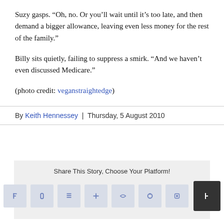Suzy gasps. “Oh, no. Or you’ll wait until it’s too late, and then demand a bigger allowance, leaving even less money for the rest of the family.”
Billy sits quietly, failing to suppress a smirk. “And we haven’t even discussed Medicare.”
(photo credit: veganstraightedge)
By Keith Hennessey | Thursday, 5 August 2010
Share This Story, Choose Your Platform!